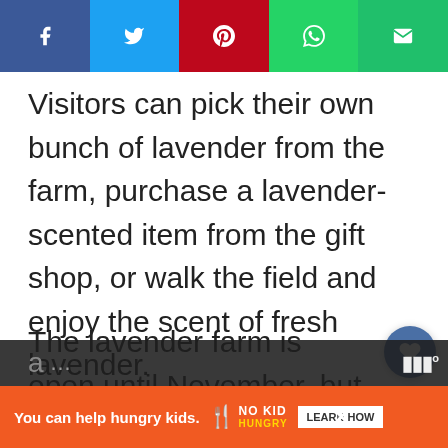[Figure (other): Social media share bar with Facebook, Twitter, Pinterest, WhatsApp, and Email buttons]
Visitors can pick their own bunch of lavender from the farm, purchase a lavender-scented item from the gift shop, or walk the field and enjoy the scent of fresh lavender.
The lavender farm is open until November, but the best time to visit is peak summer. This is when the flowers are at their fullest and brightest...
[Figure (other): Advertisement banner: You can help hungry kids. No Kid Hungry logo. LEARN HOW button.]